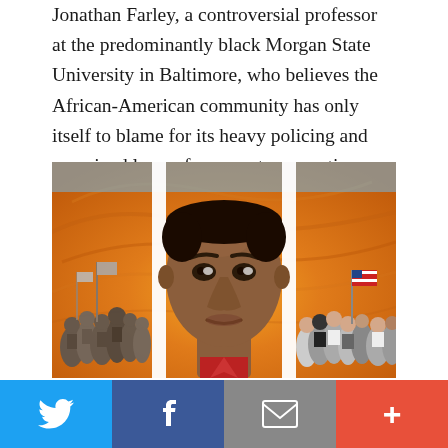Jonathan Farley, a controversial professor at the predominantly black Morgan State University in Baltimore, who believes the African-American community has only itself to blame for its heavy policing and perceived law enforcement persecution.
[Figure (illustration): A mural painting depicting a large close-up face of a young Black man in the center, with gray-scale civil rights marchers carrying American flags on the left side, and a group of people with an American flag on the right side, all set against an orange and yellow swirling background.]
Social share bar with Twitter, Facebook, Email, and More buttons